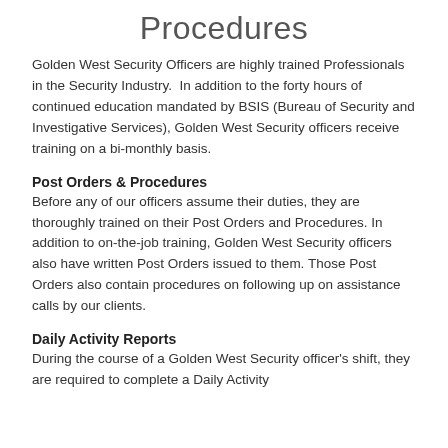Procedures
Golden West Security Officers are highly trained Professionals in the Security Industry.  In addition to the forty hours of continued education mandated by BSIS (Bureau of Security and Investigative Services), Golden West Security officers receive training on a bi-monthly basis.
Post Orders & Procedures
Before any of our officers assume their duties, they are thoroughly trained on their Post Orders and Procedures. In addition to on-the-job training, Golden West Security officers also have written Post Orders issued to them. Those Post Orders also contain procedures on following up on assistance calls by our clients.
Daily Activity Reports
During the course of a Golden West Security officer's shift, they are required to complete a Daily Activity